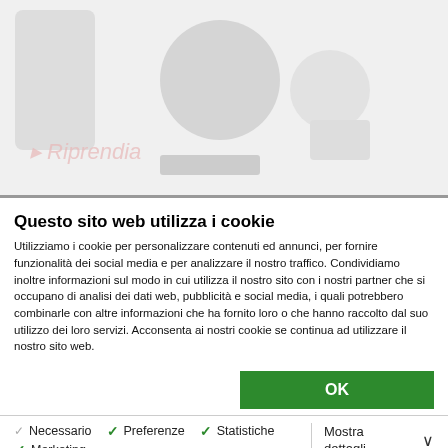[Figure (screenshot): Blurred website background with watermark text in light red/pink color reading something like 'Riprendia' or similar brand name]
Questo sito web utilizza i cookie
Utilizziamo i cookie per personalizzare contenuti ed annunci, per fornire funzionalità dei social media e per analizzare il nostro traffico. Condividiamo inoltre informazioni sul modo in cui utilizza il nostro sito con i nostri partner che si occupano di analisi dei dati web, pubblicità e social media, i quali potrebbero combinarle con altre informazioni che ha fornito loro o che hanno raccolto dal suo utilizzo dei loro servizi. Acconsenta ai nostri cookie se continua ad utilizzare il nostro sito web.
OK
Necessario   Preferenze   Statistiche   Marketing   Mostra dettagli